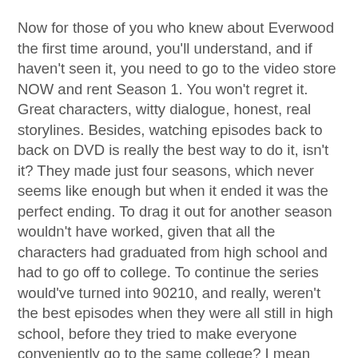Now for those of you who knew about Everwood the first time around, you'll understand, and if haven't seen it, you need to go to the video store NOW and rent Season 1. You won't regret it. Great characters, witty dialogue, honest, real storylines. Besides, watching episodes back to back on DVD is really the best way to do it, isn't it? They made just four seasons, which never seems like enough but when it ended it was the perfect ending. To drag it out for another season wouldn't have worked, given that all the characters had graduated from high school and had to go off to college. To continue the series would've turned into 90210, and really, weren't the best episodes when they were all still in high school, before they tried to make everyone conveniently go to the same college? I mean how great a school could "California University" really be?
So I was okay with Everwood ending. Until last night. Because I got home from work, made my dinner, and ....
Nothing. No Everwood. My beloved ritual is over. To make matters worse, we just got Season 3 of Entourage on DVD